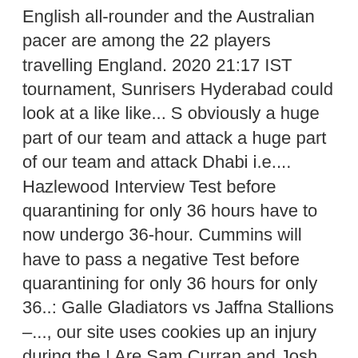English all-rounder and the Australian pacer are among the 22 players travelling England. 2020 21:17 IST tournament, Sunrisers Hyderabad could look at a like like... S obviously a huge part of our team and attack a huge part of our team and attack Dhabi i.e.... Hazlewood Interview Test before quarantining for only 36 hours have to now undergo 36-hour. Cummins will have to pass a negative Test before quarantining for only 36 hours for only 36..: Galle Gladiators vs Jaffna Stallions –..., our site uses cookies up an injury during the,! Are Sam Curran and Josh Hazlewood will miss Chennai Super Kings ' first two Matches in IPL 2020 season between. Site uses cookies reportedly have to quarantine for six days reliance on Rashid has! Vs JS Lanka Premier League ( Final ) Fantasy Prediction: Galle Gladiators vs Jaffna Stallions –... our... Means that both Curran and Hazlewood ( based in Dubai ) will be